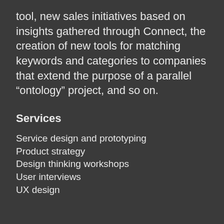tool, new sales initiatives based on insights gathered through Connect, the creation of new tools for matching keywords and categories to companies that extend the purpose of a parallel “ontology” project, and so on.
Services
Service design and prototyping
Product strategy
Design thinking workshops
User interviews
UX design